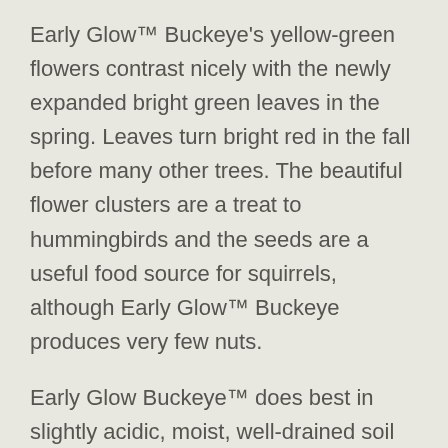Early Glow™ Buckeye's yellow-green flowers contrast nicely with the newly expanded bright green leaves in the spring. Leaves turn bright red in the fall before many other trees. The beautiful flower clusters are a treat to hummingbirds and the seeds are a useful food source for squirrels, although Early Glow™ Buckeye produces very few nuts.
Early Glow Buckeye™ does best in slightly acidic, moist, well-drained soil but can tolerate other soils if given enough water early on. However, Early Glow Buckeye™ does not tolerate heavy soil salt, so would not do well in